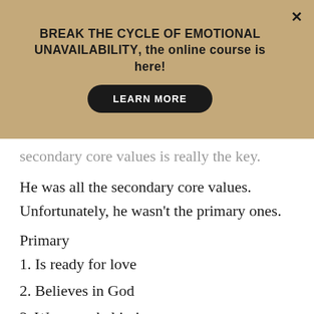BREAK THE CYCLE OF EMOTIONAL UNAVAILABILITY, the online course is here! LEARN MORE
secondary core values is really the key.
He was all the secondary core values. Unfortunately, he wasn't the primary ones.
Primary
1. Is ready for love
2. Believes in God
3. Wants verbal intimacy